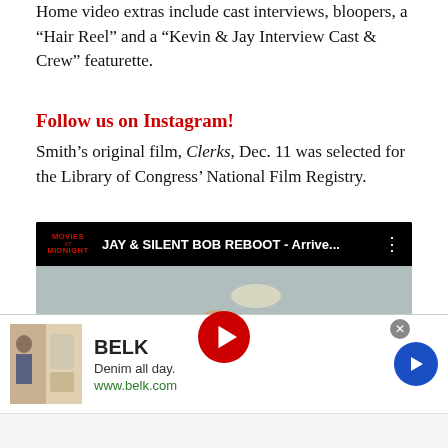Home video extras include cast interviews, bloopers, a “Hair Reel” and a “Kevin & Jay Interview Cast & Crew” featurette.
Follow us on Instagram!
Smith’s original film, Clerks, Dec. 11 was selected for the Library of Congress’ National Film Registry.
[Figure (screenshot): YouTube video thumbnail for JAY & SILENT BOB REBOOT - Arrive... showing a man in a store setting with text 'A HYSTERICALLY GOOD TIME']
[Figure (infographic): Advertisement banner for BELK: Denim all day. www.belk.com with clothing images and a blue arrow button]